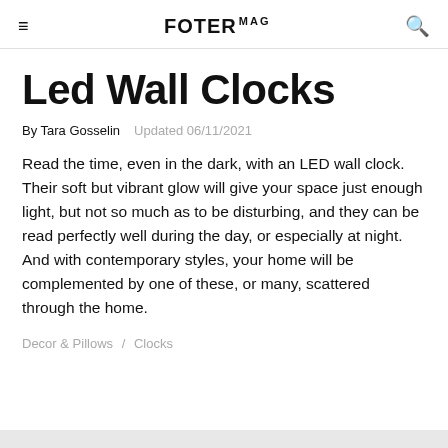FOTER MAG
Led Wall Clocks
By Tara Gosselin  Updated 06/11/2021
Read the time, even in the dark, with an LED wall clock. Their soft but vibrant glow will give your space just enough light, but not so much as to be disturbing, and they can be read perfectly well during the day, or especially at night. And with contemporary styles, your home will be complemented by one of these, or many, scattered through the home.
Decor & Pillows / Clocks